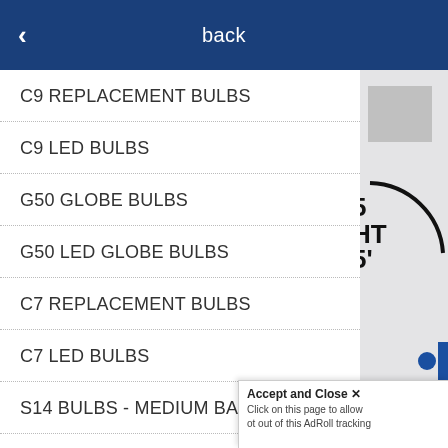back
C9 REPLACEMENT BULBS
C9 LED BULBS
G50 GLOBE BULBS
G50 LED GLOBE BULBS
C7 REPLACEMENT BULBS
C7 LED BULBS
S14 BULBS - MEDIUM BASE (E26)
S14 LED BULBS - MEDIUM BASE (E26)
Accept and Close ✕
Click on this page to allow ot out of this AdRoll tracking